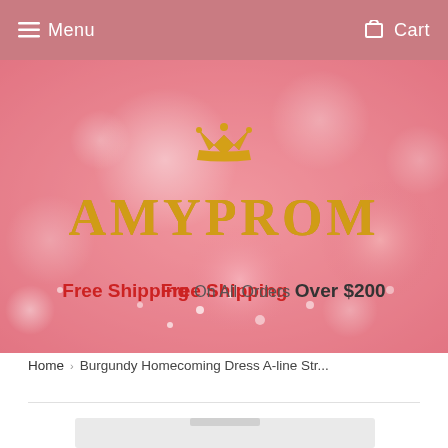Menu   Cart
[Figure (illustration): AmyProm website hero banner with pink bokeh background, golden crown icon, AMYPROM logo in gold lettering, and text: Free Shipping On All Orders Over $200]
Home › Burgundy Homecoming Dress A-line Str...
[Figure (photo): Partial view of a product image (dress) on a gray/white background, only the top edge visible]